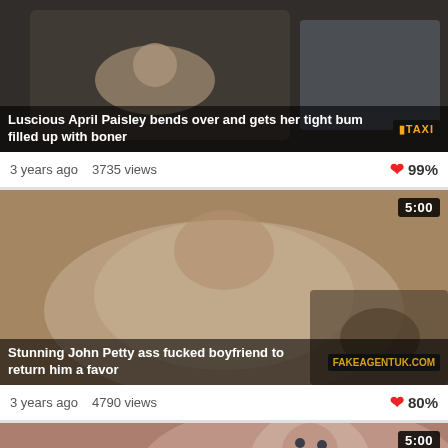[Figure (photo): Video thumbnail showing interior of taxi/car with person]
Luscious April Paisley bends over and gets her tight bum filled up with boner
3 years ago  3735 views  99%
[Figure (photo): Video thumbnail with duration badge 5:00, showing adult content]
Stunning John Petty ass fucked boyfriend to return him a favor
3 years ago  4790 views  80%
[Figure (photo): Video thumbnail with duration badge 5:00, partial view of face]